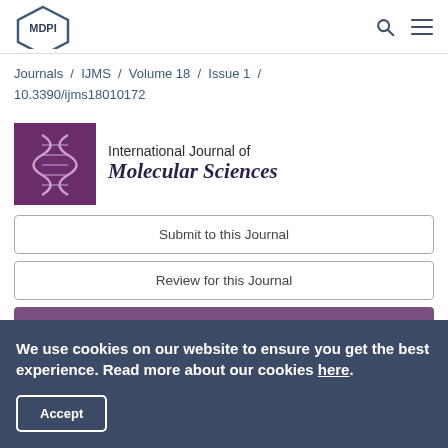MDPI
Journals / IJMS / Volume 18 / Issue 1 / 10.3390/ijms18010172
[Figure (logo): International Journal of Molecular Sciences journal logo — purple square with DNA helix graphic, text 'International Journal of Molecular Sciences']
Submit to this Journal
Review for this Journal
Edit a Special Issue
We use cookies on our website to ensure you get the best experience. Read more about our cookies here.
Accept